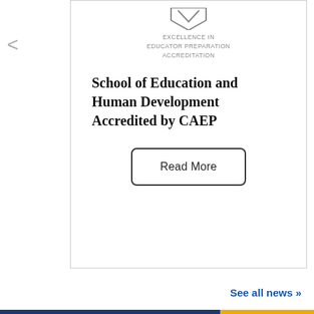[Figure (logo): CAEP Excellence in Educator Preparation Accreditation badge with chevron/shield icon and text]
School of Education and Human Development Accredited by CAEP
Read More
See all news »